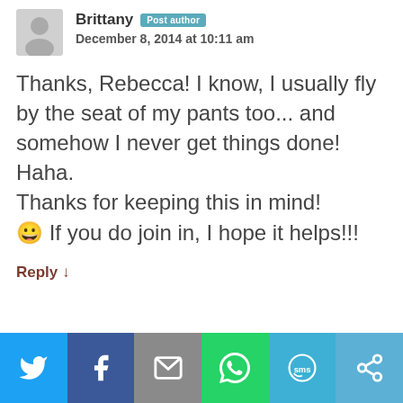Brittany [Post author] — December 8, 2014 at 10:11 am
Thanks, Rebecca! I know, I usually fly by the seat of my pants too... and somehow I never get things done! Haha.
Thanks for keeping this in mind! 😀 If you do join in, I hope it helps!!!
Reply ↓
[Figure (infographic): Social share bar with icons: Twitter (blue), Facebook (dark blue), Email (grey), WhatsApp (green), SMS (light blue), Other (blue-grey)]